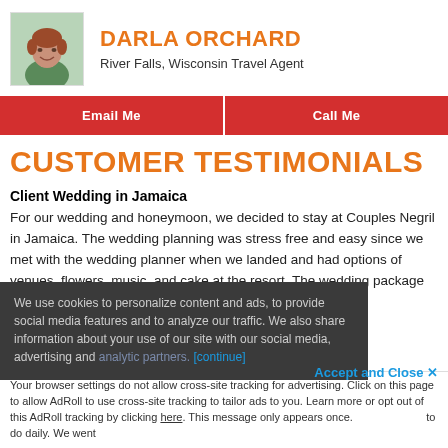[Figure (photo): Headshot photo of Darla Orchard, a woman with short red hair wearing a green top]
DARLA ORCHARD
River Falls, Wisconsin Travel Agent
Email Me
Call Me
CUSTOMER TESTIMONIALS
Client Wedding in Jamaica
For our wedding and honeymoon, we decided to stay at Couples Negril in Jamaica. The wedding planning was stress free and easy since we met with the wedding planner when we landed and had options of venues, flowers, music, and cake at the resort. The wedding package an all-inclusive cost dding alone. Every night
We use cookies to personalize content and ads, to provide social media features and to analyze our traffic. We also share information about your use of our site with our social media, advertising and analytic partners.
Accept and Close ✕
Your browser settings do not allow cross-site tracking for advertising. Click on this page to allow AdRoll to use cross-site tracking to tailor ads to you. Learn more or opt out of this AdRoll tracking by clicking here. This message only appears once.